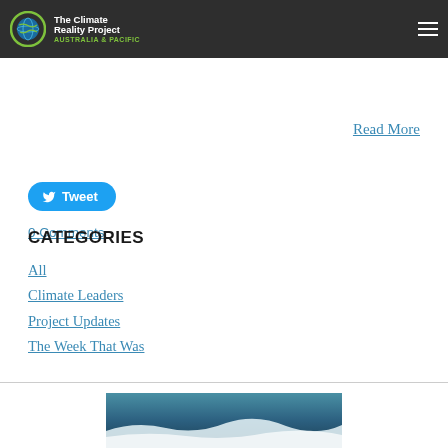The Climate Reality Project — AUSTRALIA & PACIFIC
… making. Oh, and there's no great joy around it.
Read More
Tweet
0 Comments
CATEGORIES
All
Climate Leaders
Project Updates
The Week That Was
[Figure (photo): Partial view of icy/ocean scene at the bottom of the page]